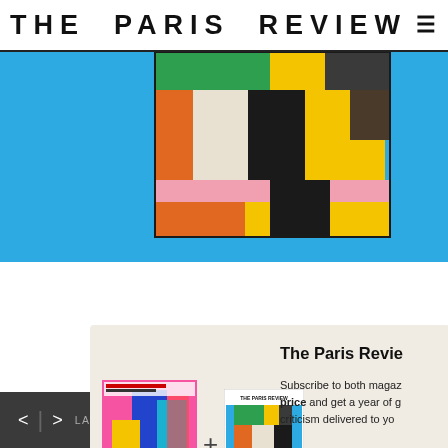THE PARIS REVIEW
[Figure (photo): Colorful abstract artwork with geometric colored rectangles on blue background]
[Figure (infographic): Subscription modal showing New York Review magazine plus The Paris Review magazine covers with Subscribe Now button]
[Figure (photo): Bottom preview showing The Paris Review cover partially visible]
< > LAST / NEXT ARTICLE   SHARE